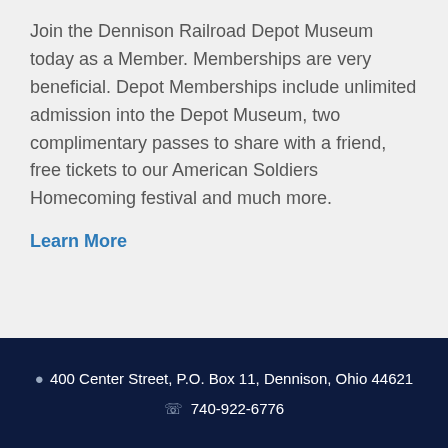Join the Dennison Railroad Depot Museum today as a Member. Memberships are very beneficial. Depot Memberships include unlimited admission into the Depot Museum, two complimentary passes to share with a friend, free tickets to our American Soldiers Homecoming festival and much more.
Learn More
400 Center Street, P.O. Box 11, Dennison, Ohio 44621
740-922-6776